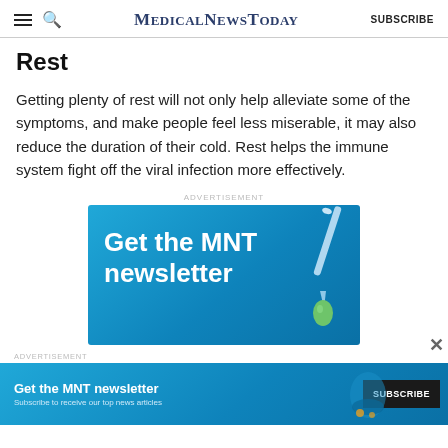MedicalNewsToday  SUBSCRIBE
Rest
Getting plenty of rest will not only help alleviate some of the symptoms, and make people feel less miserable, it may also reduce the duration of their cold. Rest helps the immune system fight off the viral infection more effectively.
ADVERTISEMENT
[Figure (illustration): MNT newsletter advertisement banner with 'Get the MNT newsletter' text on a blue background with dropper illustration]
ADVERTISEMENT
[Figure (illustration): Smaller MNT newsletter banner with 'Get the MNT newsletter' and Subscribe button on blue background]